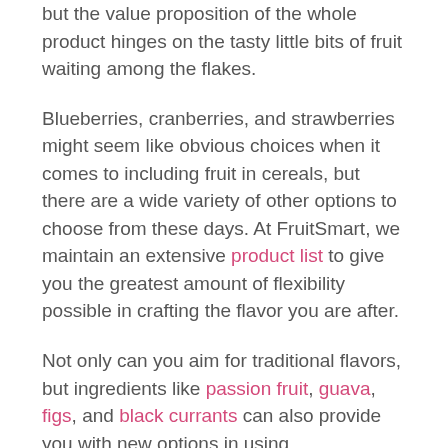but the value proposition of the whole product hinges on the tasty little bits of fruit waiting among the flakes.
Blueberries, cranberries, and strawberries might seem like obvious choices when it comes to including fruit in cereals, but there are a wide variety of other options to choose from these days. At FruitSmart, we maintain an extensive product list to give you the greatest amount of flexibility possible in crafting the flavor you are after.
Not only can you aim for traditional flavors, but ingredients like passion fruit, guava, figs, and black currants can also provide you with new options in using